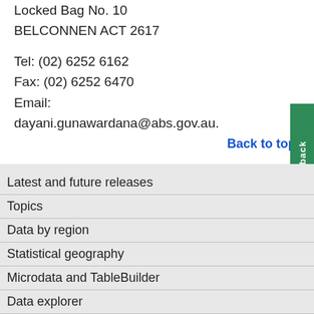Locked Bag No. 10
BELCONNEN ACT 2617
Tel: (02) 6252 6162
Fax: (02) 6252 6470
Email:
dayani.gunawardana@abs.gov.au.
Back to top
This page last updated 23 June 2008
Latest and future releases
Topics
Data by region
Statistical geography
Microdata and TableBuilder
Data explorer